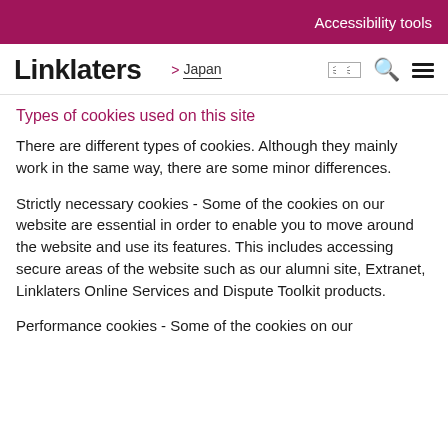Accessibility tools
Linklaters
Types of cookies used on this site
There are different types of cookies. Although they mainly work in the same way, there are some minor differences.
Strictly necessary cookies - Some of the cookies on our website are essential in order to enable you to move around the website and use its features. This includes accessing secure areas of the website such as our alumni site, Extranet, Linklaters Online Services and Dispute Toolkit products.
Performance cookies - Some of the cookies on our